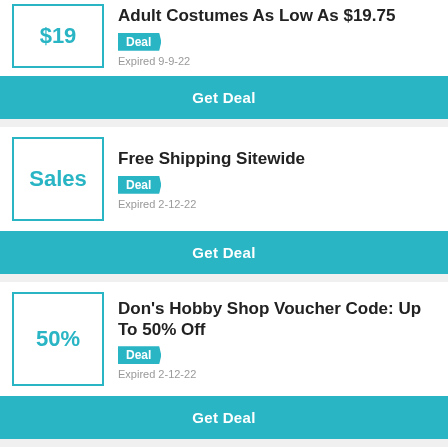$19
Adult Costumes As Low As $19.75
Deal
Expired 9-9-22
Get Deal
Sales
Free Shipping Sitewide
Deal
Expired 2-12-22
Get Deal
50%
Don's Hobby Shop Voucher Code: Up To 50% Off
Deal
Expired 2-12-22
Get Deal
Free Shipping And Returns On Don's Ho